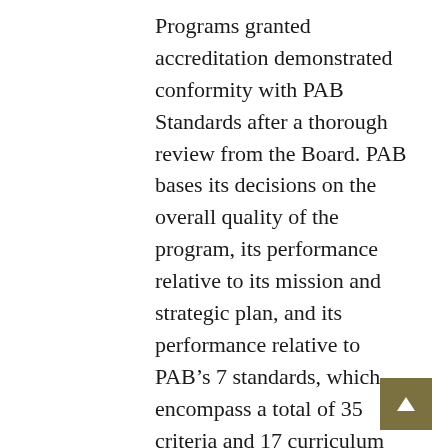Programs granted accreditation demonstrated conformity with PAB Standards after a thorough review from the Board. PAB bases its decisions on the overall quality of the program, its performance relative to its mission and strategic plan, and its performance relative to PAB's 7 standards, which encompass a total of 35 criteria and 17 curriculum sub-criteria. When PAB determines that a Program does not fully meet a criterion or curriculum sub-criterion, the Program is encouraged to take steps to improve in that area and provide information to PAB on its efforts, either during the next accreditation review or in an interim